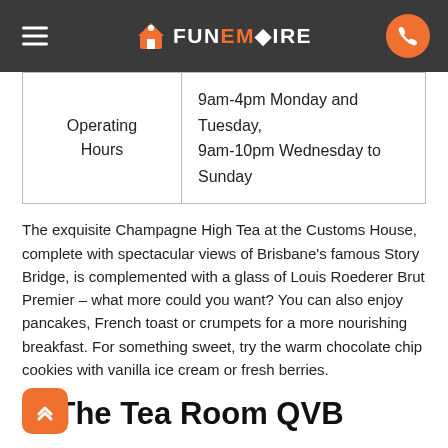FUNEMPIRE
| Operating Hours | 9am-4pm Monday and Tuesday, 9am-10pm Wednesday to Sunday |
The exquisite Champagne High Tea at the Customs House, complete with spectacular views of Brisbane's famous Story Bridge, is complemented with a glass of Louis Roederer Brut Premier – what more could you want? You can also enjoy pancakes, French toast or crumpets for a more nourishing breakfast. For something sweet, try the warm chocolate chip cookies with vanilla ice cream or fresh berries.
7. The Tea Room QVB